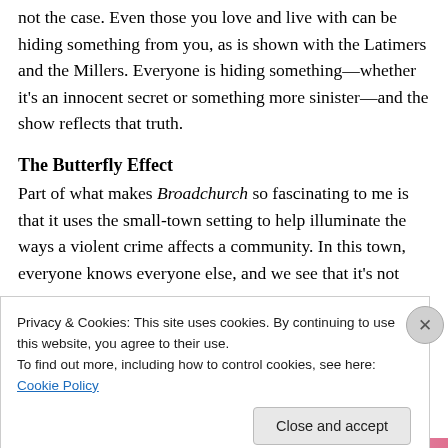not the case. Even those you love and live with can be hiding something from you, as is shown with the Latimers and the Millers. Everyone is hiding something—whether it's an innocent secret or something more sinister—and the show reflects that truth.
The Butterfly Effect
Part of what makes Broadchurch so fascinating to me is that it uses the small-town setting to help illuminate the ways a violent crime affects a community. In this town, everyone knows everyone else, and we see that it's not
Privacy & Cookies: This site uses cookies. By continuing to use this website, you agree to their use.
To find out more, including how to control cookies, see here: Cookie Policy
Close and accept